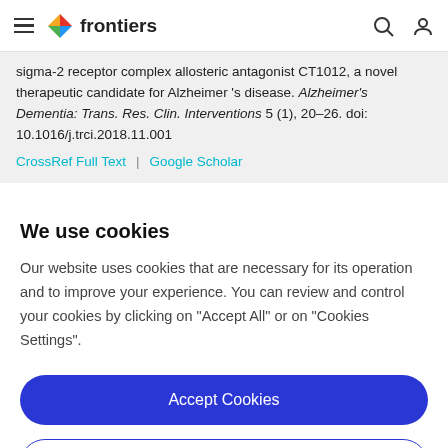frontiers
sigma-2 receptor complex allosteric antagonist CT1012, a novel therapeutic candidate for Alzheimer 's disease. Alzheimer's Dementia: Trans. Res. Clin. Interventions 5 (1), 20–26. doi: 10.1016/j.trci.2018.11.001
CrossRef Full Text | Google Scholar
We use cookies
Our website uses cookies that are necessary for its operation and to improve your experience. You can review and control your cookies by clicking on "Accept All" or on "Cookies Settings".
Accept Cookies
Cookies Settings